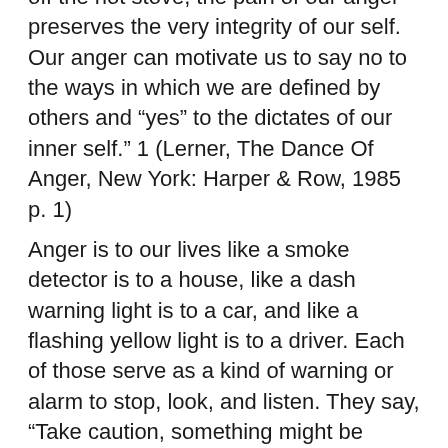off the hot stove, the pain of our anger preserves the very integrity of our self. Our anger can motivate us to say no to the ways in which we are defined by others and “yes” to the dictates of our inner self.” 1 (Lerner, The Dance Of Anger, New York: Harper & Row, 1985 p. 1)
Anger is to our lives like a smoke detector is to a house, like a dash warning light is to a car, and like a flashing yellow light is to a driver. Each of those serve as a kind of warning or alarm to stop, look, and listen. They say, “Take caution, something might be wrong.”
It is important for us to remember that anger is energy. While we may have minimal control over the fact that we